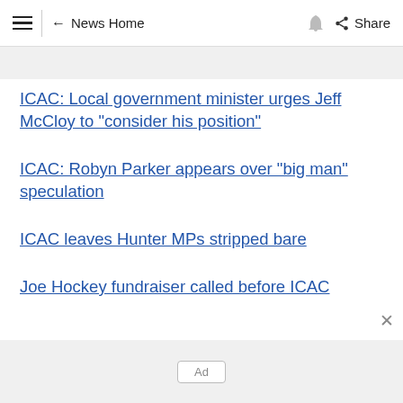≡  ← News Home  🔔  Share
ICAC: Local government minister urges Jeff McCloy to "consider his position"
ICAC: Robyn Parker appears over "big man" speculation
ICAC leaves Hunter MPs stripped bare
Joe Hockey fundraiser called before ICAC
Ad